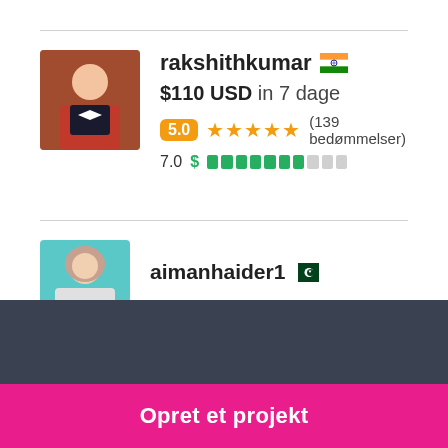[Figure (screenshot): Freelancer profile card for rakshithkumar with Indian flag, photo avatar, price $110 USD in 7 dage, rating 5.0 with 5 stars and 139 bedømmelser, progress bar showing 7.0]
rakshithkumar 🇮🇳
$110 USD in 7 dage
5.0 ★★★★★ (139 bedømmelser)
7.0 $
[Figure (screenshot): Partial second freelancer profile card for aimanhaider1 with teal avatar and Pakistan flag]
aimanhaider1
Har du brug for at ansætte en freelancer til et job?
Opret et projekt